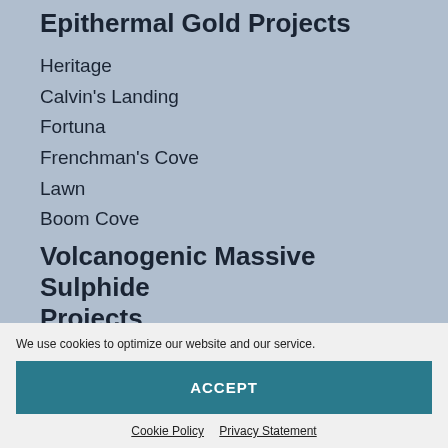Epithermal Gold Projects
Heritage
Calvin's Landing
Fortuna
Frenchman's Cove
Lawn
Boom Cove
Volcanogenic Massive Sulphide Projects
Lake Bond
Painted Dory
Big Sky
Point Leamington
Tea Arm
We use cookies to optimize our website and our service.
ACCEPT
Cookie Policy   Privacy Statement